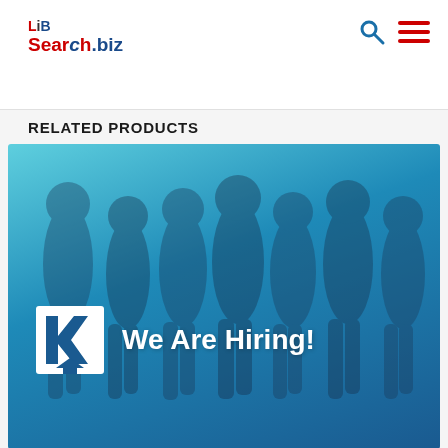LibSearch.biz
RELATED PRODUCTS
[Figure (photo): A group of people wearing branded shirts under a teal/blue overlay with a company logo (white square with a K and house icon) and the text 'We Are Hiring!']